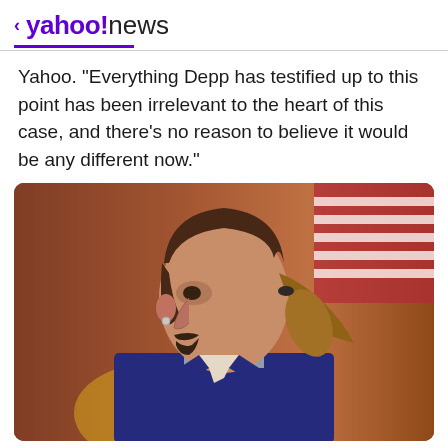< yahoo!news
Yahoo. "Everything Depp has testified up to this point has been irrelevant to the heart of this case, and there's no reason to believe it would be any different now."
[Figure (photo): Side profile photo of Johnny Depp with a ponytail hairstyle, wearing a dark suit with a light tie, in a courtroom setting with an American flag visible in the background.]
View comments